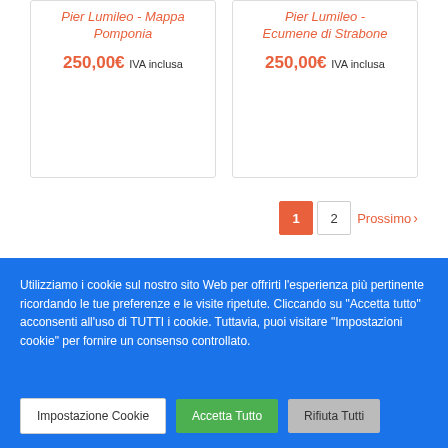Pier Lumileo - Mappa Pomponia
250,00€ IVA inclusa
Pier Lumileo - Ecumene di Strabone
250,00€ IVA inclusa
1  2  Prossimo ›
CONNECTING CULTURES
CREATIVE COMMONS
Utilizziamo i cookie sul nostro sito Web per offrirti l'esperienza più pertinente ricordando le tue preferenze e le visite ripetute. Cliccando su "Accetta tutto" acconsenti all'uso di TUTTI i cookie. Tuttavia, puoi visitare "Impostazioni cookie" per fornire un consenso controllato.
Impostazione Cookie  Accetta Tutto  Rifiuta Tutti